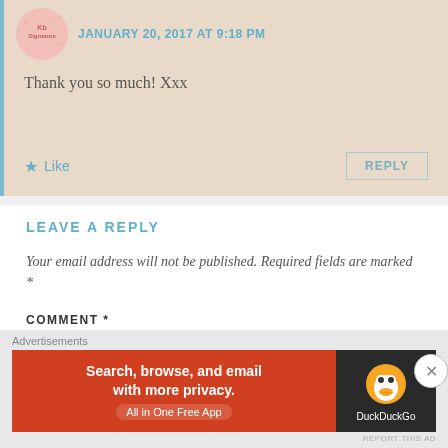JANUARY 20, 2017 AT 9:18 PM
Thank you so much! Xxx
Like
REPLY
LEAVE A REPLY
Your email address will not be published. Required fields are marked *
COMMENT *
Advertisements
Search, browse, and email with more privacy. All in One Free App
DuckDuckGo
REPORT THIS AD